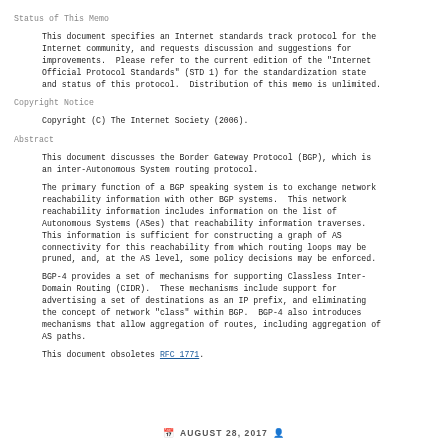Status of This Memo
This document specifies an Internet standards track protocol for the
Internet community, and requests discussion and suggestions for
improvements.  Please refer to the current edition of the "Internet
Official Protocol Standards" (STD 1) for the standardization state
and status of this protocol.  Distribution of this memo is unlimited.
Copyright Notice
Copyright (C) The Internet Society (2006).
Abstract
This document discusses the Border Gateway Protocol (BGP), which is
an inter-Autonomous System routing protocol.
The primary function of a BGP speaking system is to exchange network
reachability information with other BGP systems.  This network
reachability information includes information on the list of
Autonomous Systems (ASes) that reachability information traverses.
This information is sufficient for constructing a graph of AS
connectivity for this reachability from which routing loops may be
pruned, and, at the AS level, some policy decisions may be enforced.
BGP-4 provides a set of mechanisms for supporting Classless Inter-
Domain Routing (CIDR).  These mechanisms include support for
advertising a set of destinations as an IP prefix, and eliminating
the concept of network "class" within BGP.  BGP-4 also introduces
mechanisms that allow aggregation of routes, including aggregation of
AS paths.
This document obsoletes RFC 1771.
AUGUST 28, 2017